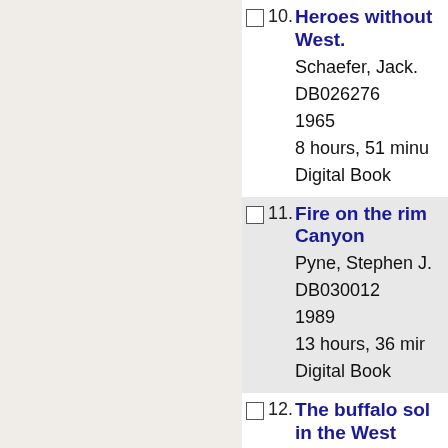10. Heroes without West. Schaefer, Jack. DB026276 1965 8 hours, 51 minu Digital Book
11. Fire on the rim Canyon Pyne, Stephen J. DB030012 1989 13 hours, 36 min Digital Book
12. The buffalo sol in the West Leckie, William H. DB068915 2003